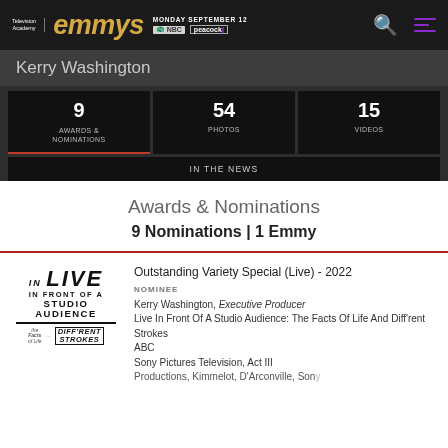Television Academy emmys | MONDAY SEPTEMBER 12 | NBC | peacock
Kerry Washington
| AWARDS & NOMINATIONS | PHOTOS | VIDEOS |
| --- | --- | --- |
| 9 | 54 | 15 |
IN THE NEWS
Awards & Nominations
9 Nominations | 1 Emmy
[Figure (logo): Live In Front Of A Studio Audience show logo with The Facts of Life and Diff'rent Strokes sub-logos]
Outstanding Variety Special (Live) - 2022
NOMINEE
Kerry Washington, Executive Producer
Live In Front Of A Studio Audience: The Facts Of Life And Diff'rent Strokes
ABC
Sony Pictures Television, Act III Productions, Kimmelot, D'Arconville, Sony...